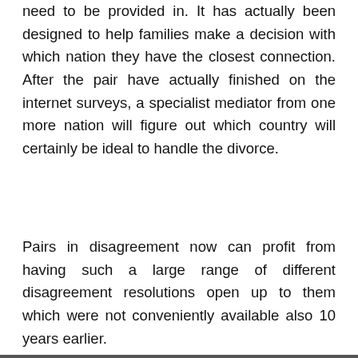need to be provided in. It has actually been designed to help families make a decision with which nation they have the closest connection. After the pair have actually finished on the internet surveys, a specialist mediator from one more nation will figure out which country will certainly be ideal to handle the divorce.
Pairs in disagreement now can profit from having such a large range of different disagreement resolutions open up to them which were not conveniently available also 10 years earlier.